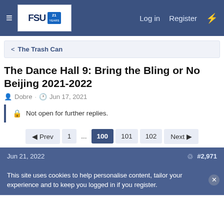FSU Forum - Log in | Register
< The Trash Can
The Dance Hall 9: Bring the Bling or No Beijing 2021-2022
Dobre · Jun 17, 2021
Not open for further replies.
◄ Prev  1  ...  100  101  102  Next ►
Jun 21, 2022  #2,971
This site uses cookies to help personalise content, tailor your experience and to keep you logged in if you register.